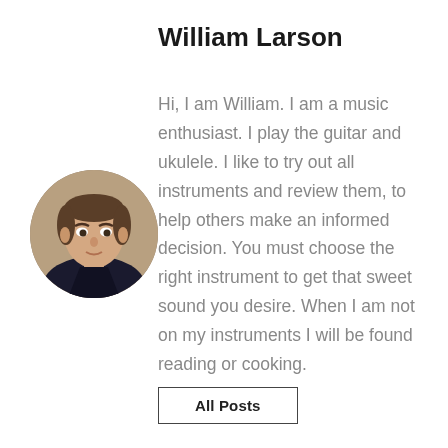William Larson
[Figure (photo): Circular portrait photo of William Larson, a young man with short brown hair wearing a dark jacket, photographed against a warm tan background.]
Hi, I am William. I am a music enthusiast. I play the guitar and ukulele. I like to try out all instruments and review them, to help others make an informed decision. You must choose the right instrument to get that sweet sound you desire. When I am not on my instruments I will be found reading or cooking.
All Posts